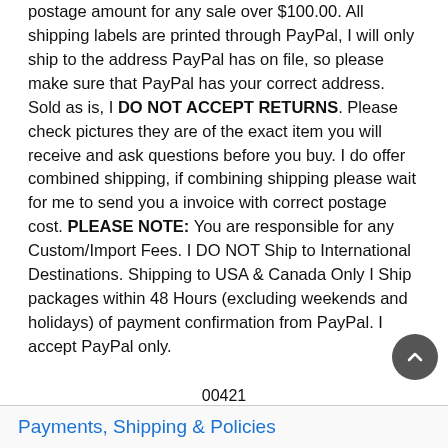postage amount for any sale over $100.00. All shipping labels are printed through PayPal, I will only ship to the address PayPal has on file, so please make sure that PayPal has your correct address. Sold as is, I DO NOT ACCEPT RETURNS. Please check pictures they are of the exact item you will receive and ask questions before you buy. I do offer combined shipping, if combining shipping please wait for me to send you a invoice with correct postage cost. PLEASE NOTE: You are responsible for any Custom/Import Fees. I DO NOT Ship to International Destinations. Shipping to USA & Canada Only I Ship packages within 48 Hours (excluding weekends and holidays) of payment confirmation from PayPal. I accept PayPal only.
00421
Payments, Shipping & Policies